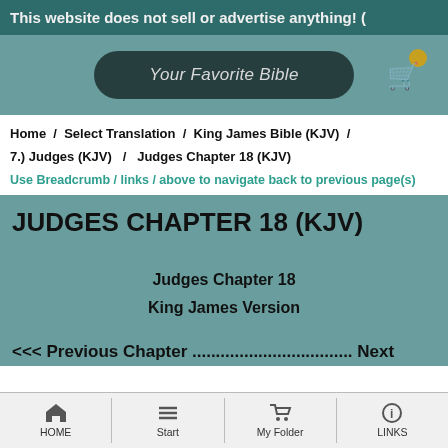This website does not sell or advertise anything! (
[Figure (screenshot): Website header with 'Your Favorite Bible' button on teal background and shopping cart icon with badge]
Home / Select Translation / King James Bible (KJV) / 7.) Judges (KJV) / Judges Chapter 18 (KJV)
Use Breadcrumb / links / above to navigate back to previous page(s)
JUDGES CHAPTER 18 (KJV)
Judges Chapter 18
King James Version
<<< Previous Chapter .................................. Next
HOME | Start | My Folder | LINKS